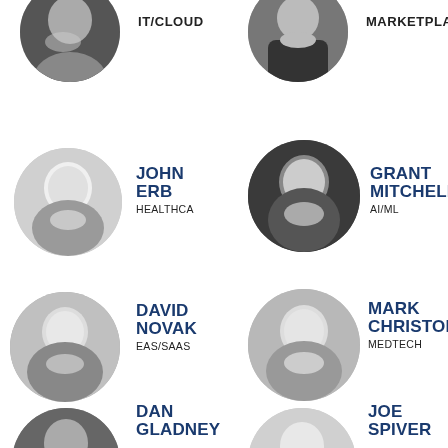[Figure (photo): Cropped circular portrait photo (top row left, partial), grayscale]
IT/CLOUD
[Figure (photo): Circular portrait photo (top row center), grayscale, person in dark jacket]
MARKETPLACE
[Figure (photo): Circular portrait photo of John Erb, grayscale, older man smiling]
JOHN ERB
HEALTHCARE
[Figure (photo): Circular portrait photo (row 2 center), grayscale, dark background]
GRANT MITCHELL
AI/ML
[Figure (photo): Circular portrait photo of David Novak, grayscale]
DAVID NOVAK
EAS/SAAS
[Figure (photo): Circular portrait photo (row 3 center), grayscale, man in light shirt]
MARK CHRISTOPHER
MEDTECH
[Figure (photo): Circular portrait photo (row 4 left), partially cropped, grayscale]
DAN GLADNEY
[Figure (photo): Circular portrait photo (row 4 center), partially cropped, grayscale]
JOE SPIVER